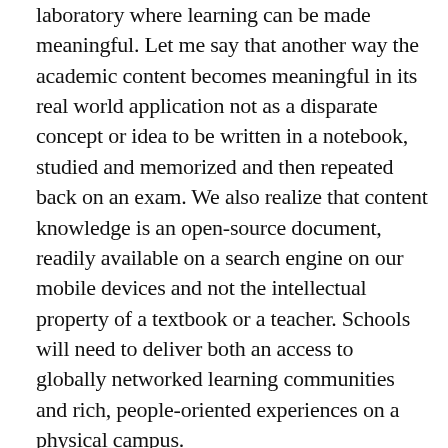laboratory where learning can be made meaningful. Let me say that another way the academic content becomes meaningful in its real world application not as a disparate concept or idea to be written in a notebook, studied and memorized and then repeated back on an exam. We also realize that content knowledge is an open-source document, readily available on a search engine on our mobile devices and not the intellectual property of a textbook or a teacher. Schools will need to deliver both an access to globally networked learning communities and rich, people-oriented experiences on a physical campus.